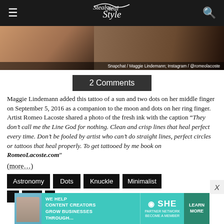Steal Her Style
[Figure (photo): Close-up photo of a hand with black nail polish holding something, with skin and dark background. Caption: Snapchat / Maggie Lindemann; Instagram / @romeolacoste]
Snapchat / Maggie Lindemann; Instagram / @romeolacoste
2 Comments
Maggie Lindemann added this tattoo of a sun and two dots on her middle finger on September 5, 2016 as a companion to the moon and dots on her ring finger.  Artist Romeo Lacoste shared a photo of the fresh ink with the caption “They don’t call me the Line God for nothing. Clean and crisp lines that heal perfect every time. Don’t be fooled by artist who can’t do straight lines, perfect circles or tattoos that heal properly. To get tattooed by me book on RomeoLacoste.com”
(more…)
Astronomy
Dots
Knuckle
Minimalist
[Figure (infographic): Advertisement banner: WE HELP CONTENT CREATORS GROW BUSINESSES THROUGH... SHE PARTNER NETWORK BECOME A MEMBER. LEARN MORE button.]